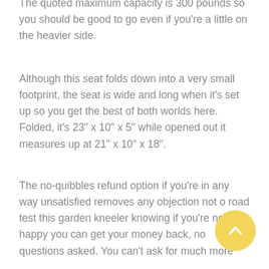The quoted maximum capacity is 300 pounds so you should be good to go even if you're a little on the heavier side.
Although this seat folds down into a very small footprint, the seat is wide and long when it's set up so you get the best of both worlds here. Folded, it's 23" x 10" x 5" while opened out it measures up at 21" x 10" x 18".
The no-quibbles refund option if you're in any way unsatisfied removes any objection not o road test this garden kneeler knowing if you're not happy you can get your money back, no questions asked. You can't ask for much more